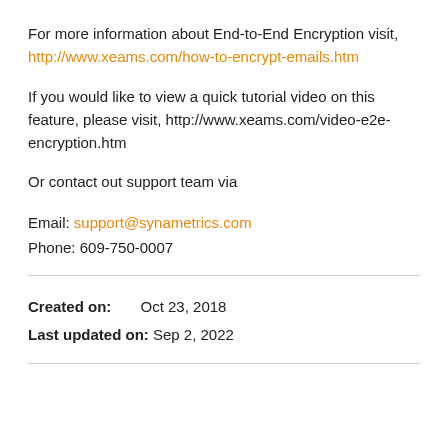For more information about End-to-End Encryption visit, http://www.xeams.com/how-to-encrypt-emails.htm
If you would like to view a quick tutorial video on this feature, please visit, http://www.xeams.com/video-e2e-encryption.htm
Or contact out support team via
Email: support@synametrics.com
Phone: 609-750-0007
Created on:    Oct 23, 2018
Last updated on: Sep 2, 2022